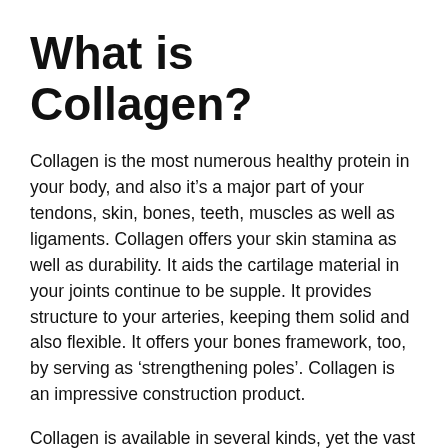What is Collagen?
Collagen is the most numerous healthy protein in your body, and also it’s a major part of your tendons, skin, bones, teeth, muscles as well as ligaments. Collagen offers your skin stamina as well as durability. It aids the cartilage material in your joints continue to be supple. It provides structure to your arteries, keeping them solid and also flexible. It offers your bones framework, too, by serving as ‘strengthening poles’. Collagen is an impressive construction product.
Collagen is available in several kinds, yet the vast majority in your body includes types I, II as well as III. These types all develop fairly large fibers known as being the collagen